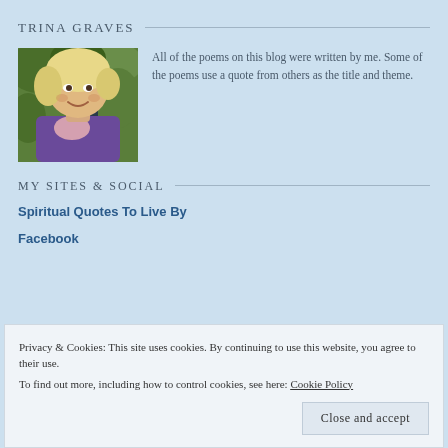TRINA GRAVES
[Figure (photo): Portrait photo of Trina Graves, a smiling woman with blonde hair, wearing a purple top with pink scarf, outdoors with green foliage background]
All of the poems on this blog were written by me. Some of the poems use a quote from others as the title and theme.
MY SITES & SOCIAL
Spiritual Quotes To Live By
Facebook
Privacy & Cookies: This site uses cookies. By continuing to use this website, you agree to their use.
To find out more, including how to control cookies, see here: Cookie Policy